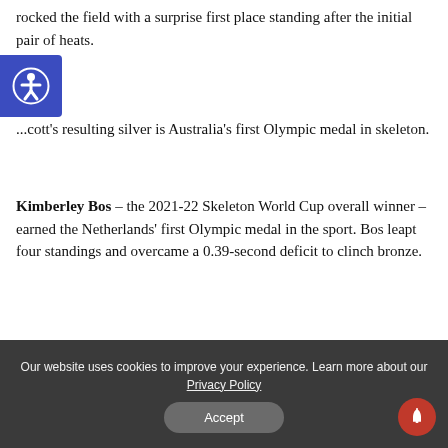rocked the field with a surprise first place standing after the initial pair of heats.
[Figure (illustration): Blue accessibility icon showing a person with arms outstretched in a circle, typical accessibility/wheelchair symbol style]
...cott's resulting silver is Australia's first Olympic medal in skeleton.
Kimberley Bos – the 2021-22 Skeleton World Cup overall winner – earned the Netherlands' first Olympic medal in the sport. Bos leapt four standings and overcame a 0.39-second deficit to clinch bronze.
Our website uses cookies to improve your experience. Learn more about our Privacy Policy
Accept